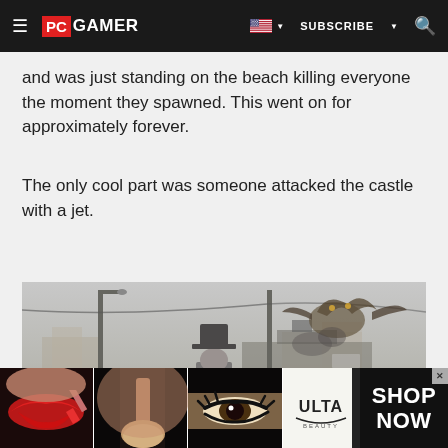PC GAMER — SUBSCRIBE
and was just standing on the beach killing everyone the moment they spawned. This went on for approximately forever.
The only cool part was someone attacked the castle with a jet.
[Figure (screenshot): In-game screenshot showing a character wearing a top hat viewed from behind, standing on a road with street lamps, watching a large monster or creature attacking a ship in a foggy, hazy background. Scene appears to be from Grand Theft Auto V or similar open-world game.]
[Figure (advertisement): Ulta Beauty advertisement banner showing close-up makeup and beauty product images (lips with lipstick, makeup brush, eyes with eyeliner, Ulta Beauty logo, glamorous eyes) with 'SHOP NOW' call to action on black background.]